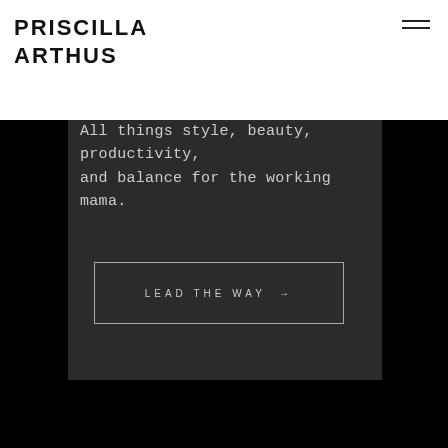PRISCILLA ARTHUS
All things style, beauty, productivity, and balance for the working mama.
LEAD THE WAY →